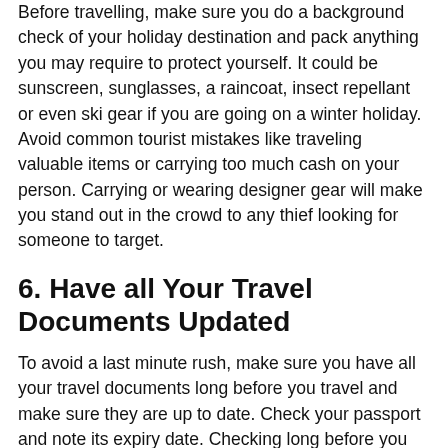Before travelling, make sure you do a background check of your holiday destination and pack anything you may require to protect yourself. It could be sunscreen, sunglasses, a raincoat, insect repellant or even ski gear if you are going on a winter holiday. Avoid common tourist mistakes like traveling valuable items or carrying too much cash on your person. Carrying or wearing designer gear will make you stand out in the crowd to any thief looking for someone to target.
6. Have all Your Travel Documents Updated
To avoid a last minute rush, make sure you have all your travel documents long before you travel and make sure they are up to date. Check your passport and note its expiry date. Checking long before you travel is essential since some of the updating processes take some time.
7. Work with a Budget